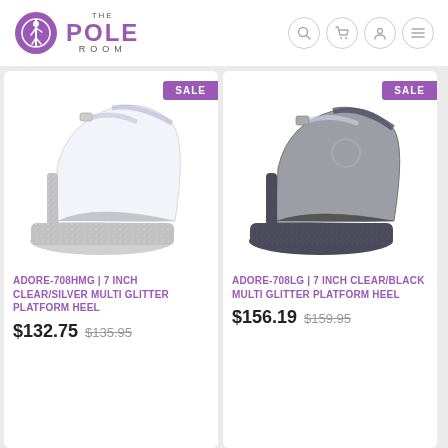THE POLE ROOM
[Figure (photo): Silver glitter high heel platform shoe with clear straps and ankle buckle, ADORE-708HMG, with SALE badge]
ADORE-708HMG | 7 INCH CLEAR/SILVER MULTI GLITTER PLATFORM HEEL
$132.75  $135.95
[Figure (photo): Black multi glitter high heel platform shoe with clear straps and ankle buckle, ADORE-708LG, with SALE badge]
ADORE-708LG | 7 INCH CLEAR/BLACK MULTI GLITTER PLATFORM HEEL
$156.19  $159.95